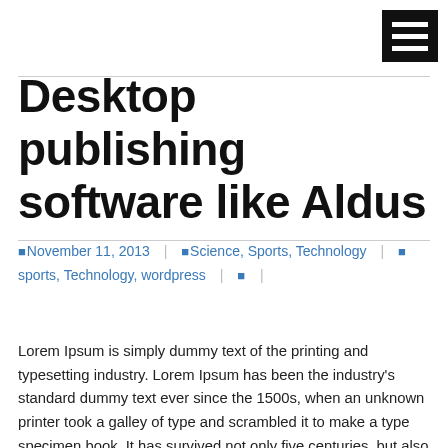[Figure (other): Hamburger menu icon — three white horizontal lines on black background — top-right corner]
Desktop publishing software like Aldus
November 11, 2013  |  Science, Sports, Technology  |  sports, Technology, wordpress  |
Lorem Ipsum is simply dummy text of the printing and typesetting industry. Lorem Ipsum has been the industry's standard dummy text ever since the 1500s, when an unknown printer took a galley of type and scrambled it to make a type specimen book. It has survived not only five centuries, but also the leap into … Continue reading →
Leave a comment
Electronic typesetting,